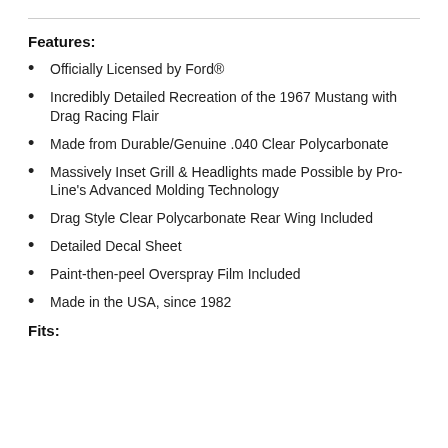Features:
Officially Licensed by Ford®
Incredibly Detailed Recreation of the 1967 Mustang with Drag Racing Flair
Made from Durable/Genuine .040 Clear Polycarbonate
Massively Inset Grill & Headlights made Possible by Pro-Line's Advanced Molding Technology
Drag Style Clear Polycarbonate Rear Wing Included
Detailed Decal Sheet
Paint-then-peel Overspray Film Included
Made in the USA, since 1982
Fits: